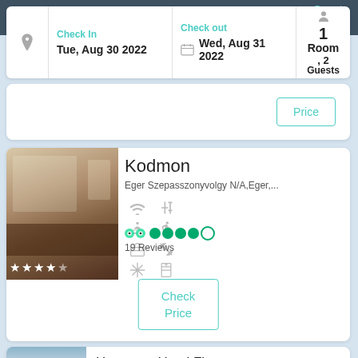Guests
Check In: Tue, Aug 30 2022
Check out: Wed, Aug 31 2022
1 Room, 2 Guests
Price
Kodmon
Eger Szepasszonyvolgy N/A, Eger,...
19 Reviews
Check Price
Hunguest Hotel Flora